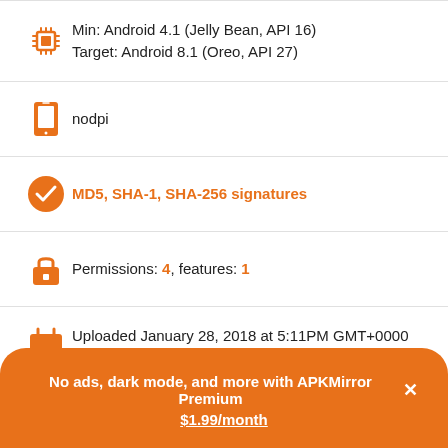Min: Android 4.1 (Jelly Bean, API 16)
Target: Android 8.1 (Oreo, API 27)
nodpi
MD5, SHA-1, SHA-256 signatures
Permissions: 4, features: 1
Uploaded January 28, 2018 at 5:11PM GMT+0000 by Artem Russakovskii
APKMirror (unofficial) App Updates
No ads, dark mode, and more with APKMirror Premium × $1.99/month